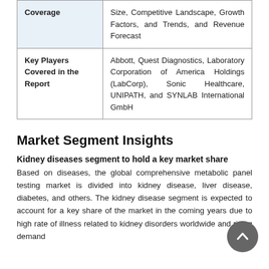|  |  |
| --- | --- |
| Coverage | Size, Competitive Landscape, Growth Factors, and Trends, and Revenue Forecast |
| Key Players Covered in the Report | Abbott, Quest Diagnostics, Laboratory Corporation of America Holdings (LabCorp), Sonic Healthcare, UNIPATH, and SYNLAB International GmbH |
Market Segment Insights
Kidney diseases segment to hold a key market share
Based on diseases, the global comprehensive metabolic panel testing market is divided into kidney disease, liver disease, diabetes, and others. The kidney disease segment is expected to account for a key share of the market in the coming years due to high rate of illness related to kidney disorders worldwide and rising demand